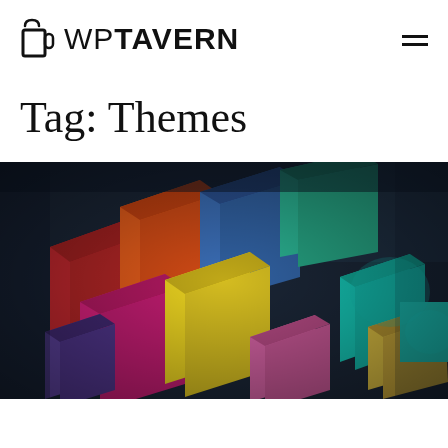WP TAVERN
Tag: Themes
[Figure (photo): Close-up photograph of colorful chalk or painted wooden blocks/cubes stacked in a staircase pattern, with vivid colors including red, orange, magenta/pink, yellow, teal/green, blue, and cyan, on a dark background.]